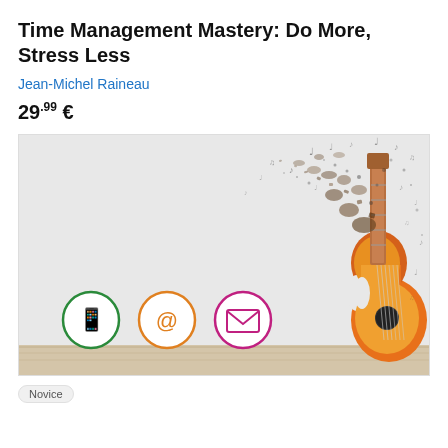Time Management Mastery: Do More, Stress Less
Jean-Michel Raineau
29.99 €
[Figure (illustration): Book cover image showing a guitar disintegrating into fragments/particles on the right side against a white wall background, with three circular icons at the bottom left: a green phone icon, an orange @ icon, and a pink envelope icon.]
Novice